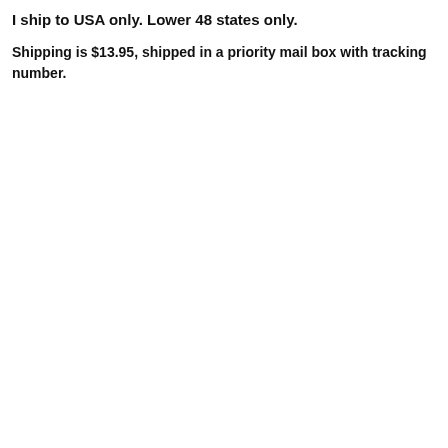I ship to USA only. Lower 48 states only.
Shipping is $13.95, shipped in a priority mail box with tracking number.